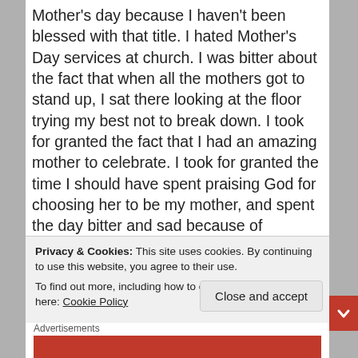Mother's day because I haven't been blessed with that title. I hated Mother's Day services at church. I was bitter about the fact that when all the mothers got to stand up, I sat there looking at the floor trying my best not to break down. I took for granted the fact that I had an amazing mother to celebrate. I took for granted the time I should have spent praising God for choosing her to be my mother, and spent the day bitter and sad because of something I didn't have. I took for granted what I did have. An amazing mother who I no longer have here to celebrate. This is the third year that Mother's Day
Privacy & Cookies: This site uses cookies. By continuing to use this website, you agree to their use.
To find out more, including how to control cookies, see here: Cookie Policy
Close and accept
Advertisements